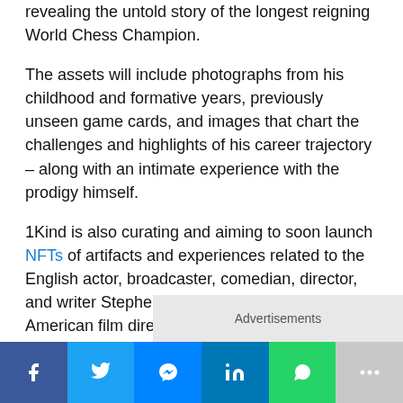revealing the untold story of the longest reigning World Chess Champion.
The assets will include photographs from his childhood and formative years, previously unseen game cards, and images that chart the challenges and highlights of his career trajectory – along with an intimate experience with the prodigy himself.
1Kind is also curating and aiming to soon launch NFTs of artifacts and experiences related to the English actor, broadcaster, comedian, director, and writer Stephen Fry; and award-winning American film director, producer, screenwriter, and author Scott Frank.
Advertisements
[Figure (other): Social media sharing bar with Facebook, Twitter, Messenger, LinkedIn, WhatsApp, and More buttons]